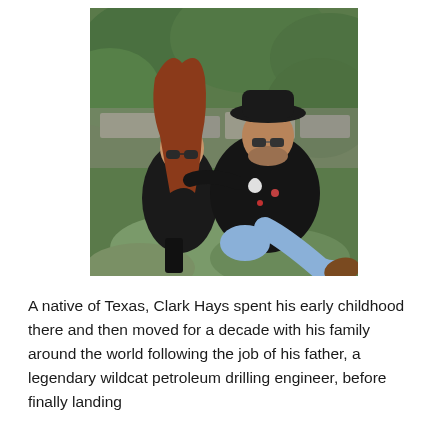[Figure (photo): A man wearing a black cowboy hat, glasses, and a black embroidered shirt with skull and rose designs, and a woman with long red hair wearing sunglasses and a black outfit, sitting together outdoors on mossy rocks surrounded by green foliage.]
A native of Texas, Clark Hays spent his early childhood there and then moved for a decade with his family around the world following the job of his father, a legendary wildcat petroleum drilling engineer, before finally landing